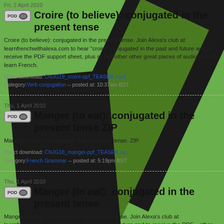Fri, 2 April 2010
Croire (to believe): conjugated in the present tense
Croire (to believe): conjugated in the present tense. Join Alexa's club at learnfrenchwithalexa.com to hear "croire" conjugated in the past and future and to receive the PDF support sheet, plus all her other other great pieces of audio to help learn French.
Direct download: CNJG19_croire-ppf_TEASER.mp3
Category:Verb conjugation -- posted at: 10:37am BST
Thu, 1 April 2010
Manger (to eat): conjugated in the present tense ZIP
Manger (to eat): conjugated in the present tense. ZIP
Direct download: CNJG18_manger-ppf_TEASER.zip
Category:French Grammar -- posted at: 5:19pm BST
Thu, 1 April 2010
Manger (to eat): conjugated in the present tense
Manger (to eat): conjugated in the present tense. Join Alexa's club at learnfrenchwith... conjugated in the past and future and to receive the PDF... other other great pieces of audio to help learn French.
Direct download: CNJG18_manger-ppf_TEASER.mp3
Category:Verb conjugation -- posted at: 5:41pm BST